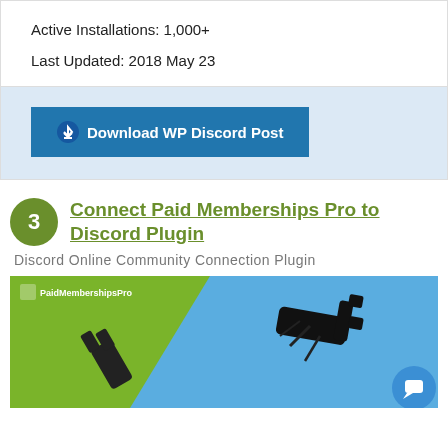Active Installations: 1,000+
Last Updated: 2018 May 23
⬇ Download WP Discord Post
Connect Paid Memberships Pro to Discord Plugin
Discord Online Community Connection Plugin
[Figure (illustration): Paid Memberships Pro plugin promotional image showing electrical plug on green and blue background]